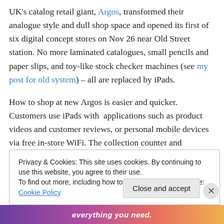UK's catalog retail giant, Argos, transformed their analogue style and dull shop space and opened its first of six digital concept stores on Nov 26 near Old Street station. No more laminated catalogues, small pencils and paper slips, and toy-like stock checker machines (see my post for old system) – all are replaced by iPads.
How to shop at new Argos is easier and quicker. Customers use iPads with  applications such as product videos and customer reviews, or personal mobile devices via free in-store WiFi. The collection counter and annoying
Privacy & Cookies: This site uses cookies. By continuing to use this website, you agree to their use.
To find out more, including how to control cookies, see here: Cookie Policy